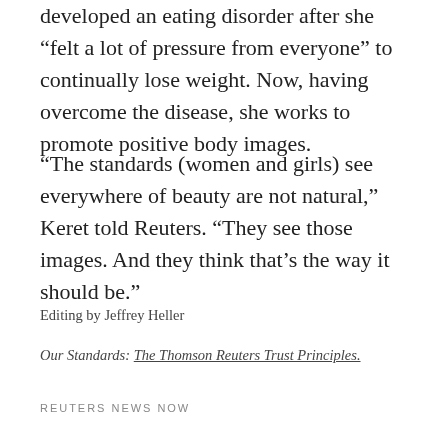developed an eating disorder after she “felt a lot of pressure from everyone” to continually lose weight. Now, having overcome the disease, she works to promote positive body images.
“The standards (women and girls) see everywhere of beauty are not natural,” Keret told Reuters. “They see those images. And they think that’s the way it should be.”
Editing by Jeffrey Heller
Our Standards: The Thomson Reuters Trust Principles.
REUTERS NEWS NOW